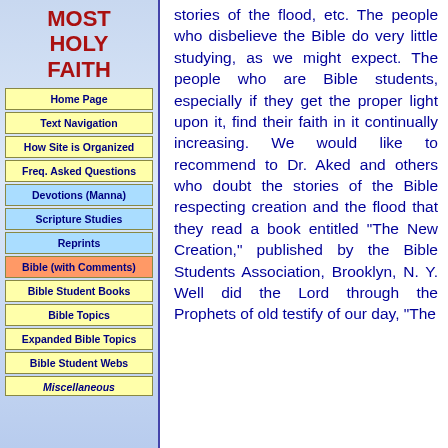MOST HOLY FAITH
Home Page
Text Navigation
How Site is Organized
Freq. Asked Questions
Devotions (Manna)
Scripture Studies
Reprints
Bible (with Comments)
Bible Student Books
Bible Topics
Expanded Bible Topics
Bible Student Webs
Miscellaneous
stories of the flood, etc. The people who disbelieve the Bible do very little studying, as we might expect. The people who are Bible students, especially if they get the proper light upon it, find their faith in it continually increasing. We would like to recommend to Dr. Aked and others who doubt the stories of the Bible respecting creation and the flood that they read a book entitled "The New Creation," published by the Bible Students Association, Brooklyn, N. Y. Well did the Lord through the Prophets of old testify of our day, "The